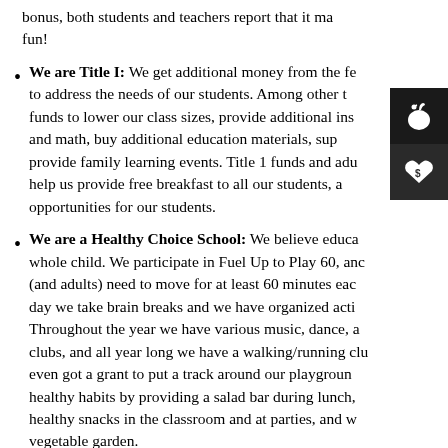bonus, both students and teachers report that it makes learning fun!
We are Title I: We get additional money from the federal government to address the needs of our students. Among other things, we use the funds to lower our class sizes, provide additional instruction in reading and math, buy additional education materials, support our library, and provide family learning events. Title 1 funds and additional grants also help us provide free breakfast to all our students, and other enriching opportunities for our students.
We are a Healthy Choice School: We believe educating the whole child. We participate in Fuel Up to Play 60, and know that kids (and adults) need to move for at least 60 minutes each day. Every day we take brain breaks and we have organized activities at recess. Throughout the year we have various music, dance, and fitness clubs, and all year long we have a walking/running club. We even got a grant to put a track around our playground! We encourage healthy habits by providing a salad bar during lunch, by asking for healthy snacks in the classroom and at parties, and we have a vegetable garden.
We value Diversity: We believe that every one of our students and staff members brings unique strengths, gifts, and talents to our classrooms. One of our greatest strengths as a school is that we welcome and celebrate students of all ethnic, social,